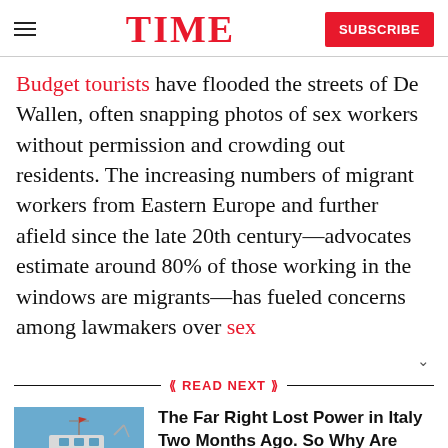TIME  SUBSCRIBE
Budget tourists have flooded the streets of De Wallen, often snapping photos of sex workers without permission and crowding out residents. The increasing numbers of migrant workers from Eastern Europe and further afield since the late 20th century—advocates estimate around 80% of those working in the windows are migrants—has fueled concerns among lawmakers over sex
READ NEXT
[Figure (photo): Photo of a red and white rescue/supply boat on blue water]
The Far Right Lost Power in Italy Two Months Ago. So Why Are Migrant Rescue Boats Still Being Refused Entry?